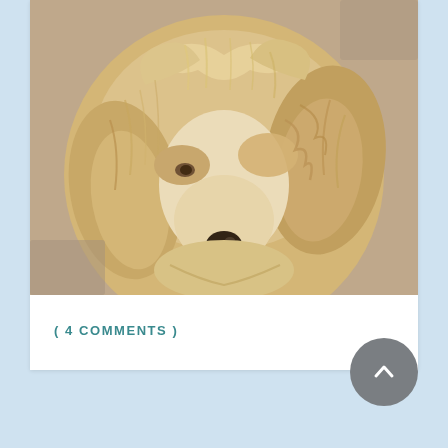[Figure (photo): Close-up photo of a fluffy golden/cream-colored Cocker Spaniel puppy looking down, with wavy fur covering its face and floppy ears.]
( 4 COMMENTS )